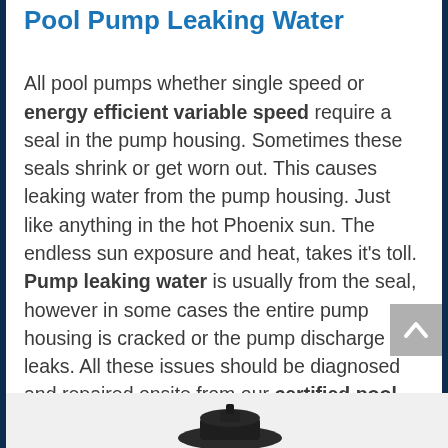Pool Pump Leaking Water
All pool pumps whether single speed or energy efficient variable speed require a seal in the pump housing. Sometimes these seals shrink or get worn out. This causes leaking water from the pump housing. Just like anything in the hot Phoenix sun. The endless sun exposure and heat, takes it's toll. Pump leaking water is usually from the seal, however in some cases the entire pump housing is cracked or the pump discharge leaks. All these issues should be diagnosed and repaired onsite from our certified pool technicians.
[Figure (photo): Partial view of a pool pump component at the bottom of the page]